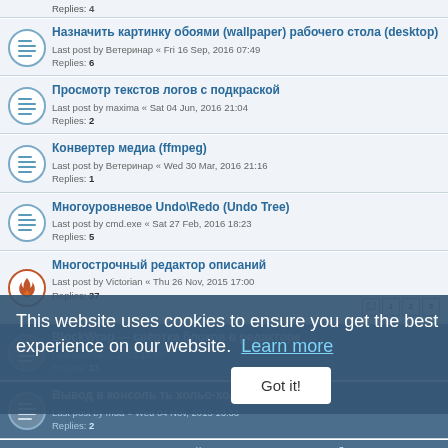Replies: 4
Назначить картинку обоями (wallpaper) рабочего стола (desktop)
Last post by Ветеринар « Fri 16 Sep, 2016 07:49
Replies: 6
Просмотр текстов логов с подкраской
Last post by maxima « Sat 04 Jun, 2016 21:04
Replies: 2
Конвертер медиа (ffmpeg)
Last post by Ветеринар « Wed 30 Mar, 2016 21:16
Replies: 1
Многоуровневое Undo\Redo (Undo Tree)
Last post by cmd.exe « Sat 27 Feb, 2016 18:23
Replies: 5
Многострочный редактор описаний
Last post by Victorian « Thu 26 Nov, 2015 17:00
Replies: 37
BlockWrap — свёртка блоков в редакторе
Last post by ...
Replies: 13
Вывод в консоль ть хольо-хол-та строк
Last post by mda « Wed 04 Nov, 2015 13:33
Replies: 2
SwiftSearch — свер...рый поиск по NTFS томам без индекса
Last post by Kiriliony « Tue 18 Aug, 2015 16:09
Replies: 9
This website uses cookies to ensure you get the best experience on our website. Learn more
Got it!